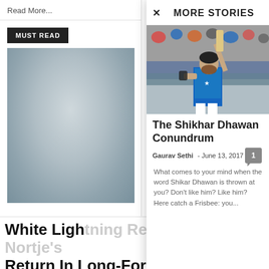Read More...
MUST READ
[Figure (photo): Blurred sidebar image of a cricket player]
MORE STORIES
[Figure (photo): Shikhar Dhawan raising his bat in celebration, wearing India blue cricket jersey, stadium crowd in background]
The Shikhar Dhawan Conundrum
Gaurav Sethi - June 13, 2017
What comes to your mind when the word Shikar Dhawan is thrown at you? Don't like him? Like him? Here catch a Frisbee: you...
White Lightning Revisited: Anrich Nortje's Return In Long-Form Cricket Is Just...
Abhinav Bose - August 24, 2022